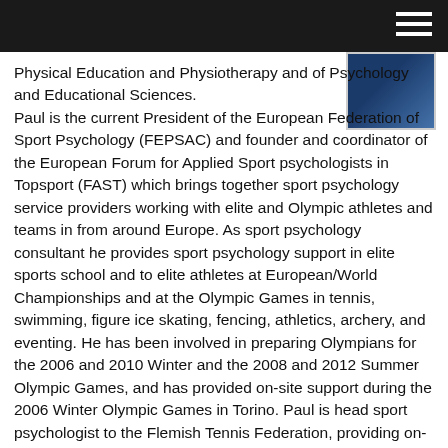[Figure (photo): Small portrait photo of a person in the upper right corner against dark background]
Physical Education and Physiotherapy and of Psychology and Educational Sciences. Paul is the current President of the European Federation of Sport Psychology (FEPSAC) and founder and coordinator of the European Forum for Applied Sport psychologists in Topsport (FAST) which brings together sport psychology service providers working with elite and Olympic athletes and teams in from around Europe. As sport psychology consultant he provides sport psychology support in elite sports school and to elite athletes at European/World Championships and at the Olympic Games in tennis, swimming, figure ice skating, fencing, athletics, archery, and eventing. He has been involved in preparing Olympians for the 2006 and 2010 Winter and the 2008 and 2012 Summer Olympic Games, and has provided on-site support during the 2006 Winter Olympic Games in Torino. Paul is head sport psychologist to the Flemish Tennis Federation, providing on-site services at for example Wimbledon and at top tournaments belonging to the Belgian Davis C...